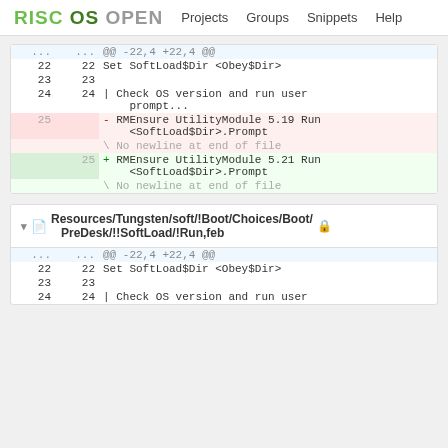RISC OS OPEN   Projects   Groups   Snippets   Help
| old_ln | new_ln | code |
| --- | --- | --- |
| ... | ... | @@ -22,4 +22,4 @@ |
| 22 | 22 | Set SoftLoad$Dir <Obey$Dir> |
| 23 | 23 |  |
| 24 | 24 | | Check OS version and run user prompt... |
| 25 |  | - RMEnsure UtilityModule 5.19 Run <SoftLoad$Dir>.Prompt |
|  |  | \ No newline at end of file |
|  | 25 | + RMEnsure UtilityModule 5.21 Run <SoftLoad$Dir>.Prompt |
|  |  | \ No newline at end of file |
Resources/Tungsten/soft/!Boot/Choices/Boot/PreDesk/!!SoftLoad/!Run,feb
| old_ln | new_ln | code |
| --- | --- | --- |
| ... | ... | @@ -22,4 +22,4 @@ |
| 22 | 22 | Set SoftLoad$Dir <Obey$Dir> |
| 23 | 23 |  |
| 24 | 24 | | Check OS version and run user |